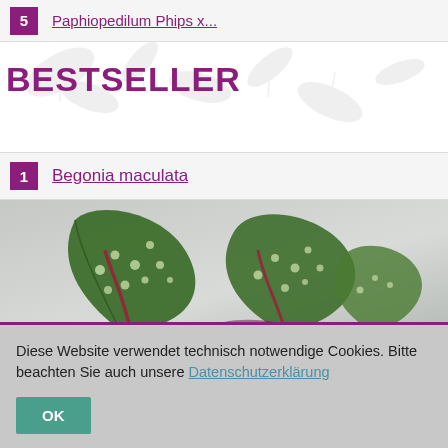5  Paphiopedilum Phips x...
BESTSELLER
1  Begonia maculata
[Figure (photo): Photo of Begonia maculata plant with dark green spotted leaves and red stems on a light grey background]
Diese Website verwendet technisch notwendige Cookies. Bitte beachten Sie auch unsere Datenschutzerklärung
OK